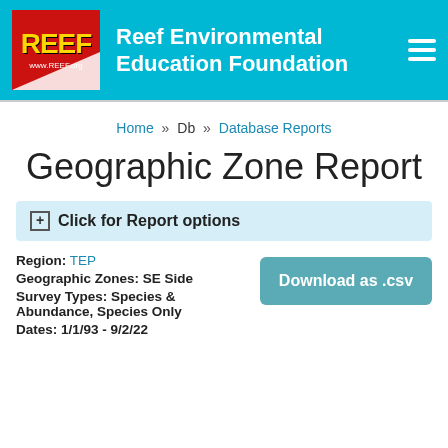Reef Environmental Education Foundation
Home » Db » Database Reports
Geographic Zone Report
+ Click for Report options
Region: TEP
Geographic Zones: SE Side
Survey Types: Species & Abundance, Species Only
Dates: 1/1/93 - 9/2/22
Download as .csv